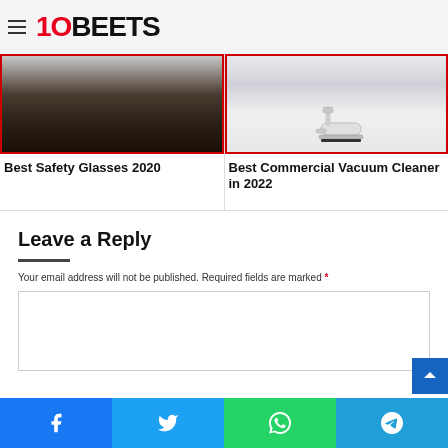10BEETS
[Figure (photo): Article card image for Best Safety Glasses 2020 - dark surface texture photo with red border]
Best Safety Glasses 2020
[Figure (photo): Article card image for Best Commercial Vacuum Cleaner in 2022 - vacuum cleaner on light floor with red border]
Best Commercial Vacuum Cleaner in 2022
Leave a Reply
Your email address will not be published. Required fields are marked *